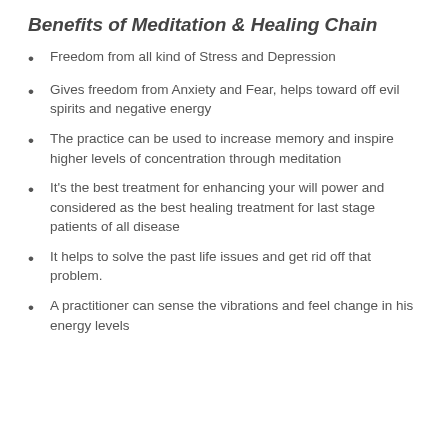Benefits of Meditation & Healing Chain
Freedom from all kind of Stress and Depression
Gives freedom from Anxiety and Fear, helps toward off evil spirits and negative energy
The practice can be used to increase memory and inspire higher levels of concentration through meditation
It's the best treatment for enhancing your will power and considered as the best healing treatment for last stage patients of all disease
It helps to solve the past life issues and get rid off that problem.
A practitioner can sense the vibrations and feel change in his energy levels